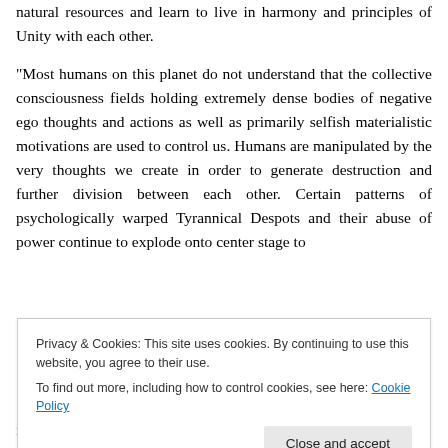natural resources and learn to live in harmony and principles of Unity with each other.
“Most humans on this planet do not understand that the collective consciousness fields holding extremely dense bodies of negative ego thoughts and actions as well as primarily selfish materialistic motivations are used to control us. Humans are manipulated by the very thoughts we create in order to generate destruction and further division between each other. Certain patterns of psychologically warped Tyrannical Despots and their abuse of power continue to explode onto center stage to
Privacy & Cookies: This site uses cookies. By continuing to use this website, you agree to their use.
To find out more, including how to control cookies, see here: Cookie Policy
is mandatory without personal ego choice.